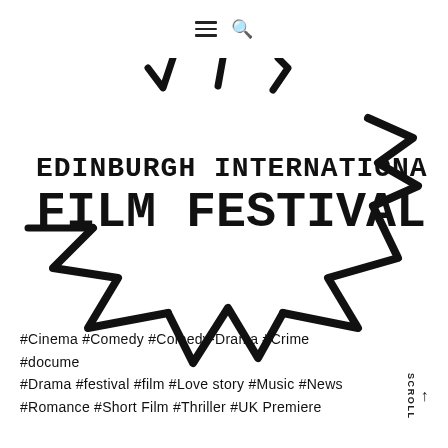Navigation menu and search icon
[Figure (logo): Edinburgh International Film Festival logo — bold black text 'EDINBURGH INTERNATIONAL FILM FESTIVAL' with a large black star outline drawn in a sketchy hand-drawn style on white background]
#Cinema #Comedy #Comedy-Drama #Crime #docume #Drama #festival #film #Love story #Music #News #Romance #Short Film #Thriller #UK Premiere
SCROLL ↑